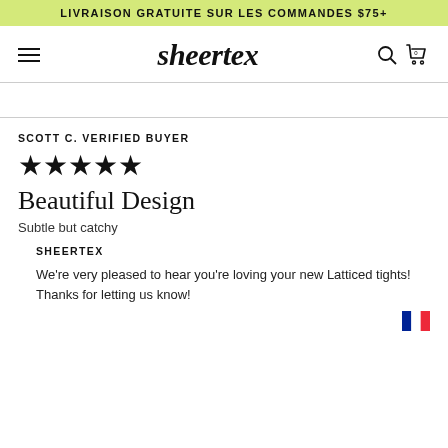LIVRAISON GRATUITE SUR LES COMMANDES $75+
sheertex
SCOTT C. VERIFIED BUYER
[Figure (other): Five filled star rating icons]
Beautiful Design
Subtle but catchy
SHEERTEX
We're very pleased to hear you're loving your new Latticed tights! Thanks for letting us know!
[Figure (illustration): French flag icon (blue, white, red vertical stripes)]